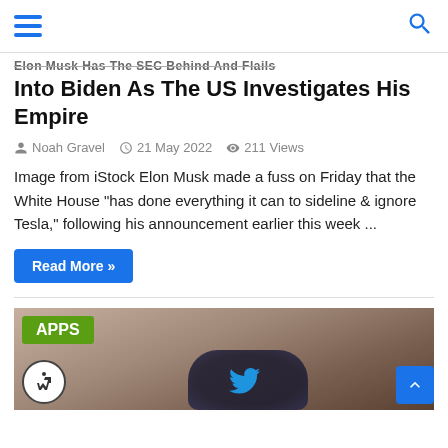Navigation header with hamburger menu and search icon
Into Biden As The US Investigates His Empire
Noah Gravel  21 May 2022  211 Views
Image from iStock Elon Musk made a fuss on Friday that the White House “has done everything it can to sideline & ignore Tesla,” following his announcement earlier this week ...
Read More »
[Figure (photo): Close-up photo of a person with glasses reflecting a Twitter bird logo, with an APPS badge overlay in green and an accessibility icon in the bottom left]